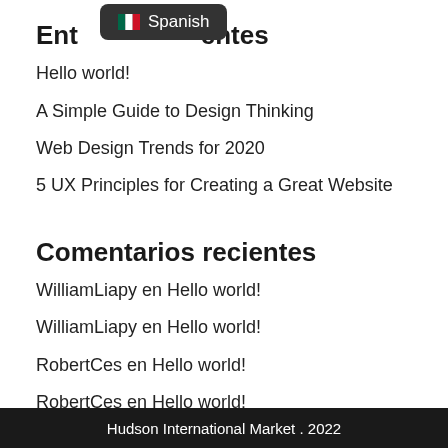[Figure (other): Tooltip overlay showing Mexican flag emoji and text 'Spanish' in dark rounded rectangle]
Entradas recientes
Hello world!
A Simple Guide to Design Thinking
Web Design Trends for 2020
5 UX Principles for Creating a Great Website
Comentarios recientes
WilliamLiapy en Hello world!
WilliamLiapy en Hello world!
RobertCes en Hello world!
RobertCes en Hello world!
ColinCrund en Hello world!
Hudson International Market . 2022